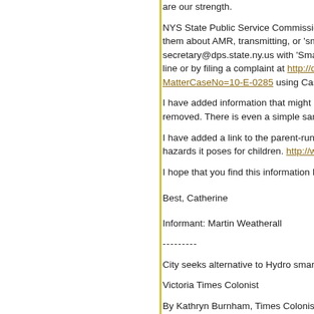are our strength.
NYS State Public Service Commission - Even persons who them about AMR, transmitting, or 'smart' utility meters. This secretary@dps.state.ny.us with 'Smart Grid Case # 10E02 line or by filing a complaint at http://documents.dps.state.n MatterCaseNo=10-E-0285 using Case # 10-E -0285
I have added information that might help with getting a doc removed. There is even a simple sample letter which will,
I have added a link to the parent-run website dedicated to hazards it poses for children. http://www.safeschool.ca
I hope that you find this information helpful.
Best, Catherine
Informant: Martin Weatherall
---------
City seeks alternative to Hydro smart meters
Victoria Times Colonist
By Kathryn Burnham, Times Colonist August 19, 2011